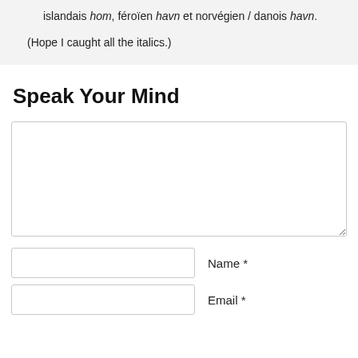islandais hom, féroïen havn et norvégien / danois havn.
(Hope I caught all the italics.)
Speak Your Mind
[comment textarea]
Name *
Email *